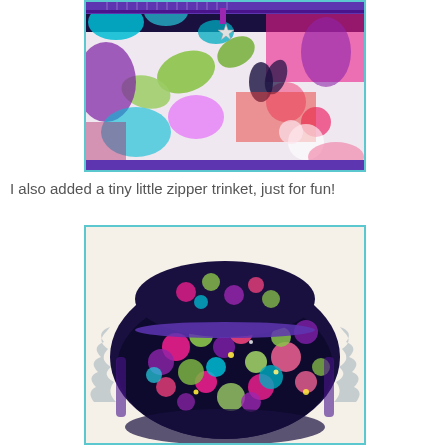[Figure (photo): Colorful floral patterned zippered cosmetic/toiletry bag with purple zipper, shown from the front. The bag features a vibrant multi-color floral print with purple, pink, teal, green, and black colors. A small star charm trinket hangs from the zipper pull.]
I also added a tiny little zipper trinket, just for fun!
[Figure (photo): Inside view of an open colorful cosmetic/toiletry bag, showing the interior with a polka dot lining in pink, green, purple, and teal dots on a dark navy background. The bag is open and spread out showing the interior compartments.]